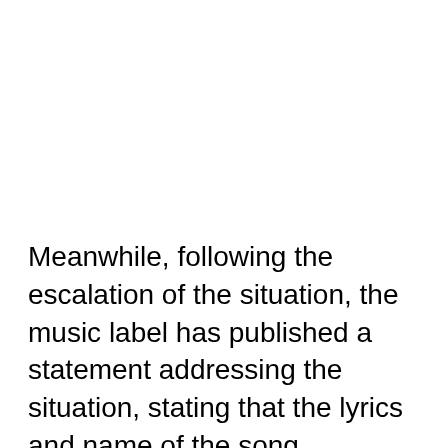Meanwhile, following the escalation of the situation, the music label has published a statement addressing the situation, stating that the lyrics and name of the song 'Madhuban' will be changed. 'In light of recent comments and honouring the views of our fellow countrymen, we will be modifying the lyrics and the name of the song Madhuban,' the music company said in a statement. Over the following three days, the new song will